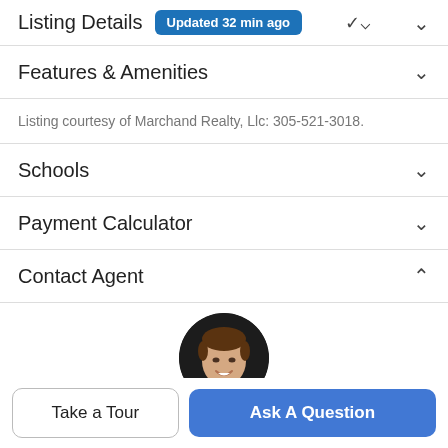Listing Details Updated 32 min ago
Features & Amenities
Listing courtesy of Marchand Realty, Llc: 305-521-3018.
Schools
Payment Calculator
Contact Agent
[Figure (photo): Round profile photo of a smiling man with brown hair against a dark background]
Take a Tour
Ask A Question